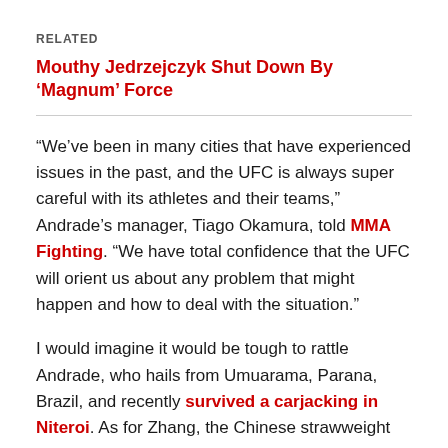RELATED
Mouthy Jedrzejczyk Shut Down By ‘Magnum’ Force
“We’ve been in many cities that have experienced issues in the past, and the UFC is always super careful with its athletes and their teams,” Andrade’s manager, Tiago Okamura, told MMA Fighting. “We have total confidence that the UFC will orient us about any problem that might happen and how to deal with the situation.”
I would imagine it would be tough to rattle Andrade, who hails from Umuarama, Parana, Brazil, and recently survived a carjacking in Niteroi. As for Zhang, the Chinese strawweight has been dealing with local issues for most of her life.